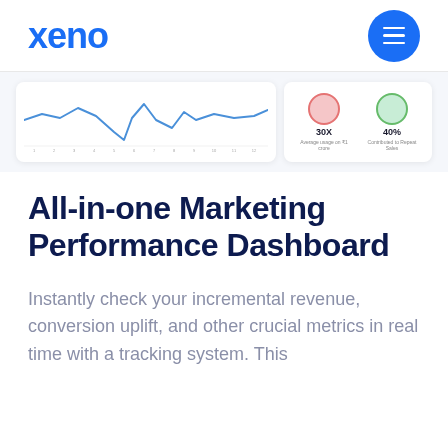[Figure (logo): Xeno brand logo in blue with hamburger menu button]
[Figure (screenshot): Dashboard screenshot strip showing a line chart on the left card and metric bubbles (30X, 40%) on the right card]
All-in-one Marketing Performance Dashboard
Instantly check your incremental revenue, conversion uplift, and other crucial metrics in real time with a tracking system. This